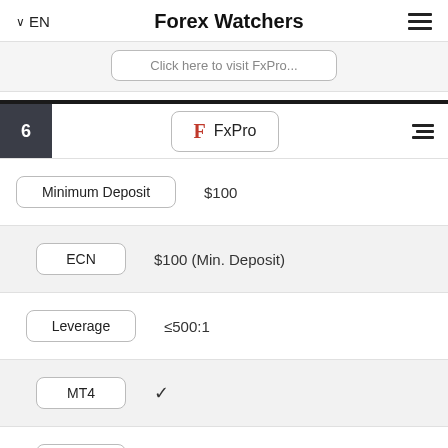EN | Forex Watchers
Click here to visit FxPro...
6  F FxPro
| Feature | Value |
| --- | --- |
| Minimum Deposit | $100 |
| ECN | $100 (Min. Deposit) |
| Leverage | ≤500:1 |
| MT4 | ✓ |
| MT5 | ✓ |
| □□□□ | ✓ |